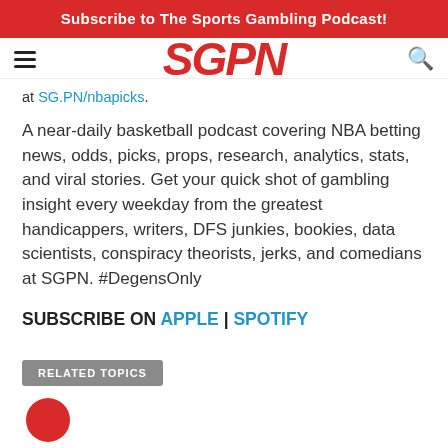Subscribe to The Sports Gambling Podcast!
[Figure (logo): SGPN logo in red italic bold text with hamburger menu and search icon]
at SG.PN/nbapicks.
A near-daily basketball podcast covering NBA betting news, odds, picks, props, research, analytics, stats, and viral stories. Get your quick shot of gambling insight every weekday from the greatest handicappers, writers, DFS junkies, bookies, data scientists, conspiracy theorists, jerks, and comedians at SGPN. #DegensOnly
SUBSCRIBE ON APPLE | SPOTIFY
RELATED TOPICS